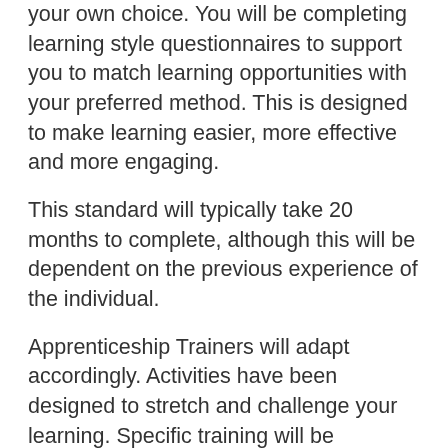your own choice. You will be completing learning style questionnaires to support you to match learning opportunities with your preferred method. This is designed to make learning easier, more effective and more engaging.
This standard will typically take 20 months to complete, although this will be dependent on the previous experience of the individual.
Apprenticeship Trainers will adapt accordingly. Activities have been designed to stretch and challenge your learning. Specific training will be provided on command verbs to ensure you cover standards to the appropriate depth and breadth.
ASSESSMENT METHOD